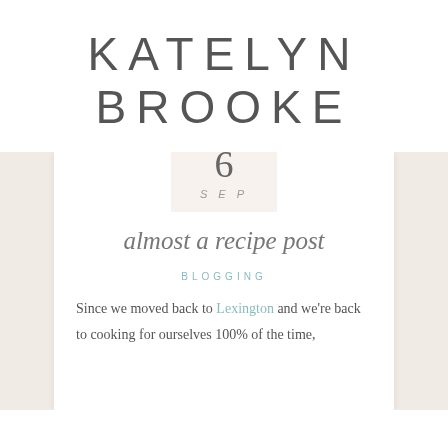KATELYN
BROOKE
[Figure (screenshot): Blog post preview card with date badge showing '6 SEP', post title 'almost a recipe post', category tag 'BLOGGING', and excerpt text beginning 'Since we moved back to Lexington and we're back to cooking for ourselves 100% of the time,']
6
SEP
almost a recipe post
BLOGGING
Since we moved back to Lexington and we're back to cooking for ourselves 100% of the time,